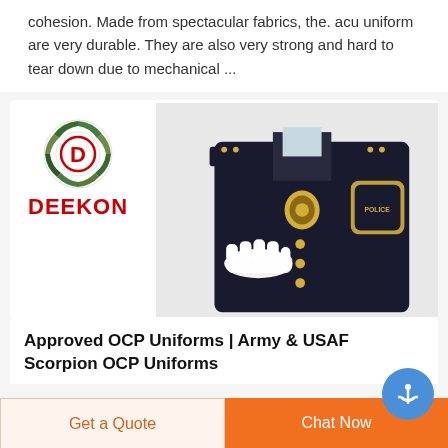cohesion. Made from spectacular fabrics, the. acu uniform are very durable. They are also very strong and hard to tear down due to mechanical ...
[Figure (photo): Deekon brand logo (camouflage circle with red D) and red DEEKON text, alongside a police/security dress uniform displayed on a mannequin — dark jacket with gold buttons, badge, police patch, white glove on shoulder]
Approved OCP Uniforms | Army & USAF Scorpion OCP Uniforms
Get a Quote
Chat Now